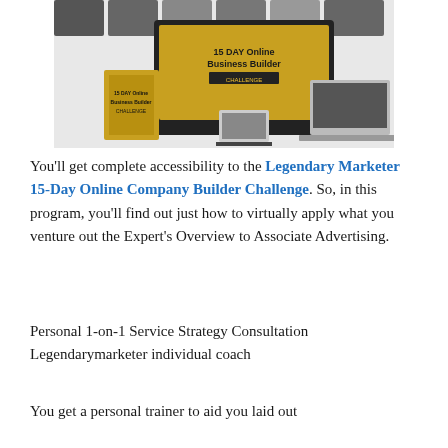[Figure (illustration): Product bundle image showing '15 DAY Online Business Builder Challenge' displayed on monitor, laptop, tablet, and book/box, with multiple thumbnail images in background]
You'll get complete accessibility to the Legendary Marketer 15-Day Online Company Builder Challenge. So, in this program, you'll find out just how to virtually apply what you venture out the Expert's Overview to Associate Advertising.
Personal 1-on-1 Service Strategy Consultation Legendarymarketer individual coach
You get a personal trainer to aid you laid out